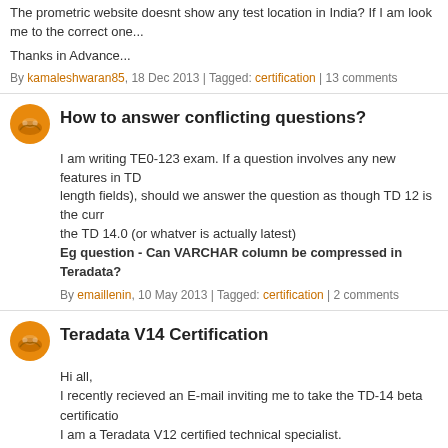The prometric website doesnt show any test location in India? If I am look me to the correct one...
Thanks in Advance...
By kamaleshwaran85, 18 Dec 2013 | Tagged: certification | 13 comments
How to answer conflicting questions?
I am writing TE0-123 exam. If a question involves any new features in TD length fields), should we answer the question as though TD 12 is the curr the TD 14.0 (or whatver is actually latest)
Eg question - Can VARCHAR column be compressed in Teradata?
By emaillenin, 10 May 2013 | Tagged: certification | 2 comments
Teradata V14 Certification
Hi all,
I recently recieved an E-mail inviting me to take the TD-14 beta certificatio
I am a Teradata V12 certified technical specialist.
I am planning to take further  V12 certifications.
How long will the V12 certification program be continued and then eventu
By Cvinodh, 17 Sep 2012 | Tagged: certification v12 v14 | 2 comments
Needs study materials for Teradata certification
Hi Folks,
Am new to this forum. Actually i am one ur guru person in teradata and...